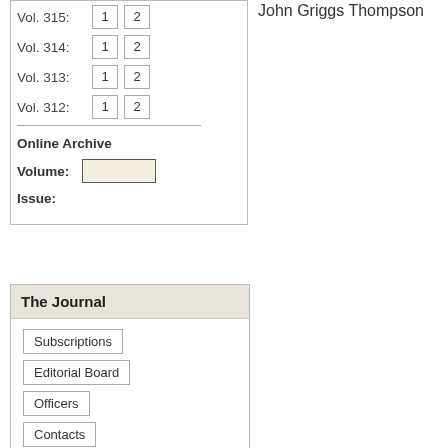Vol. 315: 1 2
Vol. 314: 1 2
Vol. 313: 1 2
Vol. 312: 1 2
Online Archive
Volume:
Issue:
The Journal
Subscriptions
Editorial Board
Officers
Contacts
John Griggs Thompson